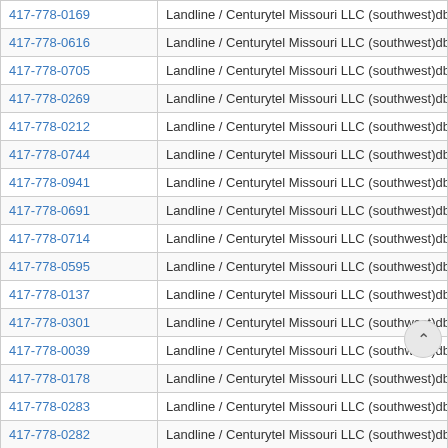| Phone | Type / Carrier |
| --- | --- |
| 417-778-0169 | Landline / Centurytel Missouri LLC (southwest)dba Centurylink |
| 417-778-0616 | Landline / Centurytel Missouri LLC (southwest)dba Centurylink |
| 417-778-0705 | Landline / Centurytel Missouri LLC (southwest)dba Centurylink |
| 417-778-0269 | Landline / Centurytel Missouri LLC (southwest)dba Centurylink |
| 417-778-0212 | Landline / Centurytel Missouri LLC (southwest)dba Centurylink |
| 417-778-0744 | Landline / Centurytel Missouri LLC (southwest)dba Centurylink |
| 417-778-0941 | Landline / Centurytel Missouri LLC (southwest)dba Centurylink |
| 417-778-0691 | Landline / Centurytel Missouri LLC (southwest)dba Centurylink |
| 417-778-0714 | Landline / Centurytel Missouri LLC (southwest)dba Centurylink |
| 417-778-0595 | Landline / Centurytel Missouri LLC (southwest)dba Centurylink |
| 417-778-0137 | Landline / Centurytel Missouri LLC (southwest)dba Centurylink |
| 417-778-0301 | Landline / Centurytel Missouri LLC (southwest)dba Centurylink |
| 417-778-0039 | Landline / Centurytel Missouri LLC (southwest)dba Centurylink |
| 417-778-0178 | Landline / Centurytel Missouri LLC (southwest)dba Centurylink |
| 417-778-0283 | Landline / Centurytel Missouri LLC (southwest)dba Ce |
| 417-778-0282 | Landline / Centurytel Missouri LLC (southwest)dba Ce. |
| 417-778-0207 | Landline / Centurytel Missouri LLC (southwest)dba Centurylink |
| 417-778-0231 | Landline / Centurytel Missouri LLC (southwest)dba Centurylink |